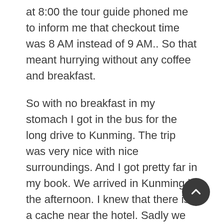at 8:00 the tour guide phoned me to inform me that checkout time was 8 AM instead of 9 AM.. So that meant hurrying without any coffee and breakfast.
So with no breakfast in my stomach I got in the bus for the long drive to Kunming. The trip was very nice with nice surroundings. And I got pretty far in my book. We arrived in Kunming in the afternoon. I knew that there is a cache near the hotel. Sadly we could not find it. We also visited the Yuantong temple. It was a nice temple with a lot of water. Â Afterwards we went to the park where a lot of locals were singing and dancing. My stomach did not feel that well, so I headed back to the hotel. I managed to do some shopping in the evening and even went to the burger king to attack the germs in